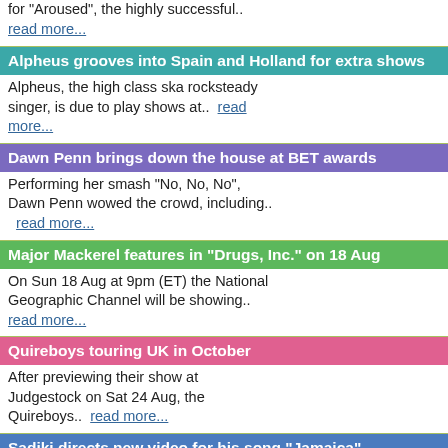for "Aroused", the highly successful..
read more...
Alpheus grooves into Spain and Holland for extra shows
Alpheus, the high class ska rocksteady singer, is due to play shows at..  read more...
Dawn Penn brings down the house at BET awards
Performing her smash "No, No, No", Dawn Penn wowed the crowd, including..
read more...
Major Mackerel features in "Drugs, Inc." on 18 Aug
On Sun 18 Aug at 9pm (ET) the National Geographic Channel will be showing..
read more...
Quireboys touring UK in October
After previewing their show at Judgestock on Sat 24 Aug, the Quireboys..  read more...
Sadiki directs new video for his song "Jamaica"